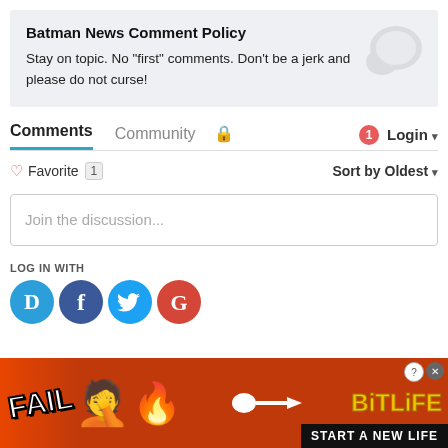Batman News Comment Policy
Stay on topic. No "first" comments. Don't be a jerk and please do not curse!
Comments   Community   🔒   1   Login ▼
♡ Favorite  1    Sort by Oldest ▼
Join the discussion...
LOG IN WITH
[Figure (screenshot): Social login icons: Disqus (D), Facebook (F), Twitter bird, Google (G)]
[Figure (photo): BitLife ad banner: FAIL text, facepalm emoji, fire emoji, sperm icon arrow, BitLife logo in yellow, START A NEW LIFE text on black background, close buttons top right]